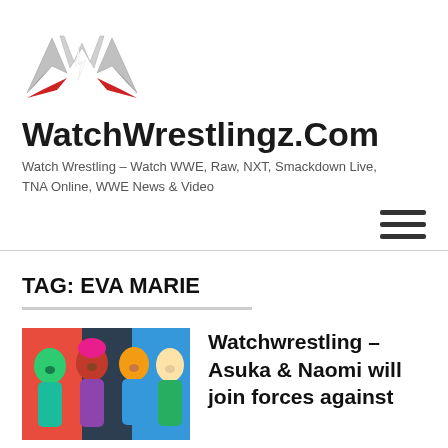[Figure (logo): WatchWrestlingz logo — stylized W with wings and lightning bolt, silver and red coloring]
WatchWrestlingz.Com
Watch Wrestling – Watch WWE, Raw, NXT, Smackdown Live, TNA Online, WWE News & Video
TAG: EVA MARIE
[Figure (photo): Four WWE female wrestlers posing together — Asuka (green face paint), Naomi (pink hair), and two others in colorful ring attire]
Watchwrestling – Asuka & Naomi will join forces against